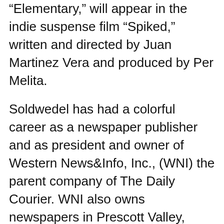“Elementary,” will appear in the indie suspense film “Spiked,” written and directed by Juan Martinez Vera and produced by Per Melita.
Soldwedel has had a colorful career as a newspaper publisher and as president and owner of Western News&Info, Inc., (WNI) the parent company of The Daily Courier. WNI also owns newspapers in Prescott Valley, Chino Valley, Kingman, Cottonwood, Camp Verde, Lake Havasu City and other northern Arizona communities. Soldwedel was honored by the Arizona Newspapers Association in 2001 after launching a series of investigative news reports on law enforcement and government agencies in southern Arizona. According to a company press release, in 2017 after falling ill for no apparent reason, medical tests found lethal levels of the heavy metal thallium